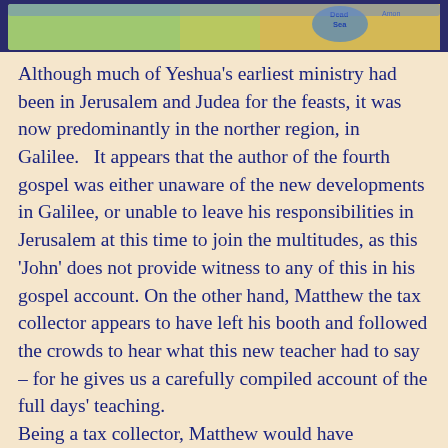[Figure (map): Partial view of a map showing the Dead Sea region and surrounding areas including Amon, with blue water body and green/yellow terrain]
Although much of Yeshua’s earliest ministry had been in Jerusalem and Judea for the feasts, it was now predominantly in the norther region, in Galilee.   It appears that the author of the fourth gospel was either unaware of the new developments in Galilee, or unable to leave his responsibilities in Jerusalem at this time to join the multitudes, as this ‘John’ does not provide witness to any of this in his gospel account. On the other hand, Matthew the tax collector appears to have left his booth and followed the crowds to hear what this new teacher had to say – for he gives us a carefully compiled account of the full days’ teaching. Being a tax collector, Matthew would have